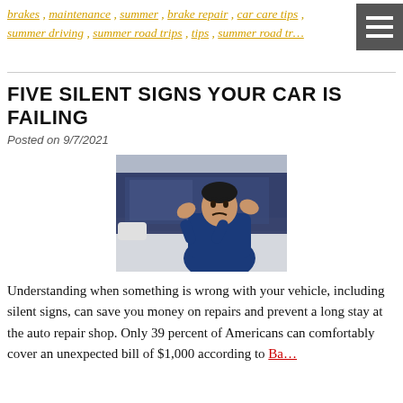brakes , maintenance , summer , brake repair , car care tips , summer driving , summer road trips , tips , summer road tr…
FIVE SILENT SIGNS YOUR CAR IS FAILING
Posted on 9/7/2021
[Figure (photo): Man sitting in driver's seat of a car looking frustrated, gesturing with hands raised]
Understanding when something is wrong with your vehicle, including silent signs, can save you money on repairs and prevent a long stay at the auto repair shop. Only 39 percent of Americans can comfortably cover an unexpected bill of $1,000 according to Bankrate…